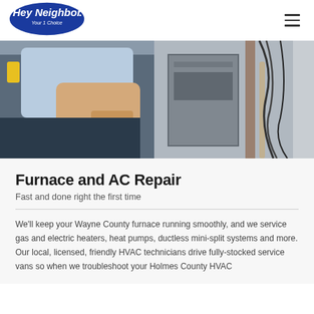Hey Neighbor Your 1 Choice [logo] [hamburger menu]
[Figure (photo): A technician in a blue shirt working on a furnace or HVAC unit, handling pipes and wiring in a basement or utility room.]
Furnace and AC Repair
Fast and done right the first time
We'll keep your Wayne County furnace running smoothly, and we service gas and electric heaters, heat pumps, ductless mini-split systems and more. Our local, licensed, friendly HVAC technicians drive fully-stocked service vans so when we troubleshoot your Holmes County HVAC